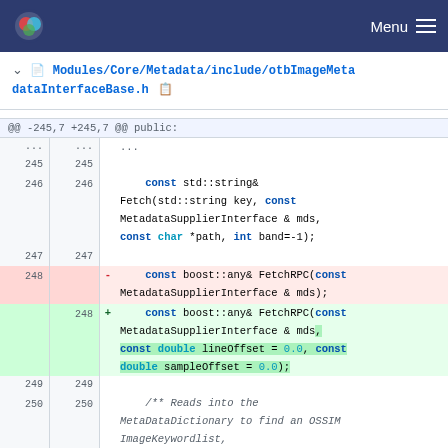Menu
Modules/Core/Metadata/include/otbImageMetadataInterfaceBase.h
@@ -245,7 +245,7 @@ public:
245 245
246 246     const std::string& Fetch(std::string key, const MetadataSupplierInterface & mds, const char *path, int band=-1);
247 247
248    -  const boost::any& FetchRPC(const MetadataSupplierInterface & mds);
   248 +  const boost::any& FetchRPC(const MetadataSupplierInterface & mds, const double lineOffset = 0.0, const double sampleOffset = 0.0);
249 249
250 250     /** Reads into the MetaDataDictionary to find an OSSIM ImageKeywordlist,
251 251       * then translate it into